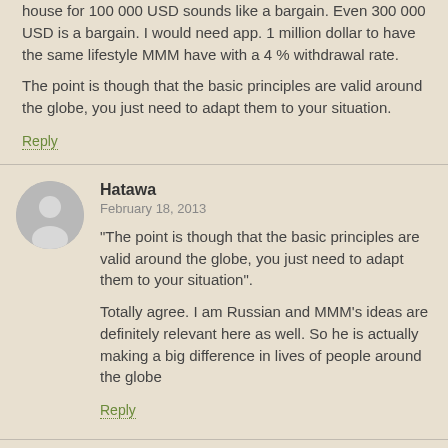house for 100 000 USD sounds like a bargain. Even 300 000 USD is a bargain. I would need app. 1 million dollar to have the same lifestyle MMM have with a 4 % withdrawal rate.
The point is though that the basic principles are valid around the globe, you just need to adapt them to your situation.
Reply
Hatawa
February 18, 2013
"The point is though that the basic principles are valid around the globe, you just need to adapt them to your situation".
Totally agree. I am Russian and MMM's ideas are definitely relevant here as well. So he is actually making a big difference in lives of people around the globe
Reply
Amicable Skeptic